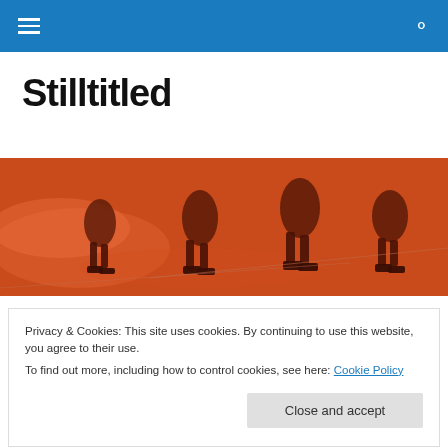Stilltitled — navigation bar with hamburger menu and search icon
Stilltitled
[Figure (photo): Orange-toned photo of people skating viewed from above, showing legs and skates on a reflective floor]
TAGGED WITH ECONOMICS
Privacy & Cookies: This site uses cookies. By continuing to use this website, you agree to their use.
To find out more, including how to control cookies, see here: Cookie Policy
Close and accept